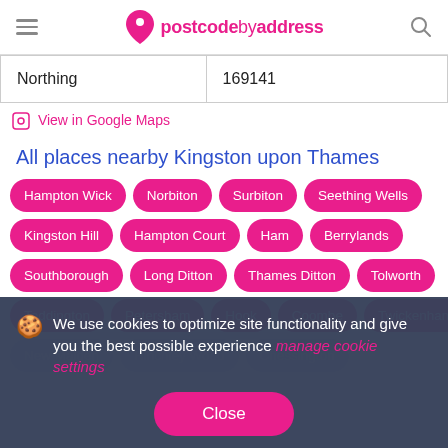postcodebyaddress
| Northing | 169141 |
View in Google Maps
All places nearby Kingston upon Thames
Hampton Wick
Norbiton
Surbiton
Seething Wells
Kingston Hill
Hampton Court
Ham
Berrylands
Southborough
Long Ditton
Thames Ditton
Tolworth
Teddington
Petersham
Hook
Coombe
Twickenham
We use cookies to optimize site functionality and give you the best possible experience manage cookie settings
Close